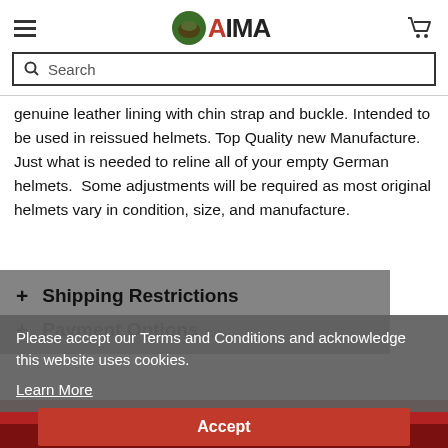AIMA - navigation header with search bar
genuine leather lining with chin strap and buckle. Intended to be used in reissued helmets. Top Quality new Manufacture. Just what is needed to reline all of your empty German helmets.  Some adjustments will be required as most original helmets vary in condition, size, and manufacture.
+ Shipping Restrictions
+ Payment Options
Please accept our Terms and Conditions and acknowledge this website uses cookies.
Learn More
Accept
YOU MAY ALSO LIKE
ADD TO CART